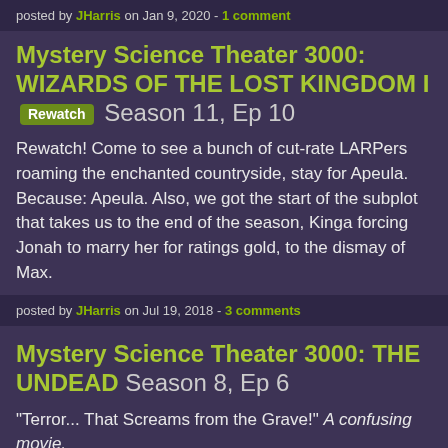posted by JHarris on Jan 9, 2020 - 1 comment
Mystery Science Theater 3000: WIZARDS OF THE LOST KINGDOM I [Rewatch] Season 11, Ep 10
Rewatch! Come to see a bunch of cut-rate LARPers roaming the enchanted countryside, stay for Apeula. Because: Apeula. Also, we got the start of the subplot that takes us to the end of the season, Kinga forcing Jonah to marry her for ratings gold, to the dismay of Max.
posted by JHarris on Jul 19, 2018 - 3 comments
Mystery Science Theater 3000: THE UNDEAD Season 8, Ep 6
"Terror... That Screams from the Grave!" A confusing movie,